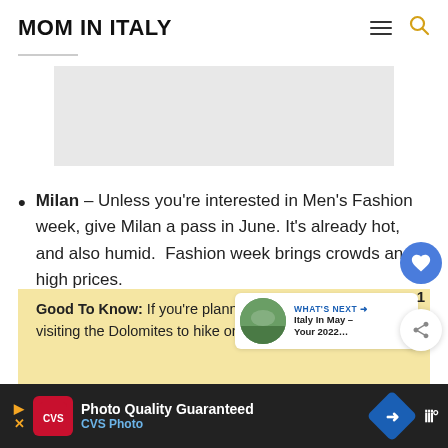MOM IN ITALY
[Figure (other): Gray placeholder advertisement banner]
Milan – Unless you're interested in Men's Fashion week, give Milan a pass in June. It's already hot, and also humid.  Fashion week brings crowds and high prices.
Good To Know: If you're planning on visiting the Dolomites to hike on high
[Figure (screenshot): WHAT'S NEXT - Italy In May – Your 2022... promo widget with landscape photo]
[Figure (screenshot): CVS Photo advertisement bar - Photo Quality Guaranteed, CVS Photo]